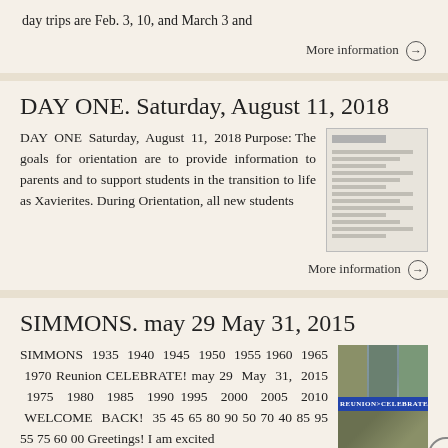day trips are Feb. 3, 10, and March 3 and
More information →
DAY ONE. Saturday, August 11, 2018
DAY ONE Saturday, August 11, 2018 Purpose: The goals for orientation are to provide information to parents and to support students in the transition to life as Xavierites. During Orientation, all new students
[Figure (photo): Thumbnail image of a document or schedule]
More information →
SIMMONS. may 29 May 31, 2015
SIMMONS 1935 1940 1945 1950 1955 1960 1965 1970 Reunion CELEBRATE! may 29 May 31, 2015 1975 1980 1985 1990 1995 2000 2005 2010 WELCOME BACK! 35 45 65 80 90 50 70 40 85 95 55 75 60 00 Greetings! I am excited
[Figure (photo): Photo collage of reunion attendees with REUNION CELEBRATE! banner]